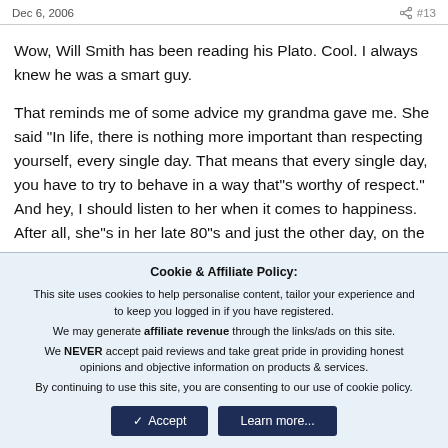Dec 6, 2006    #13
Wow, Will Smith has been reading his Plato. Cool. I always knew he was a smart guy.
That reminds me of some advice my grandma gave me. She said "In life, there is nothing more important than respecting yourself, every single day. That means that every single day, you have to try to behave in a way that"s worthy of respect." And hey, I should listen to her when it comes to happiness. After all, she"s in her late 80"s and just the other day, on the
Cookie & Affiliate Policy:
This site uses cookies to help personalise content, tailor your experience and to keep you logged in if you have registered.
We may generate affiliate revenue through the links/ads on this site.
We NEVER accept paid reviews and take great pride in providing honest opinions and objective information on products & services.
By continuing to use this site, you are consenting to our use of cookie policy.
✓ Accept    Learn more...